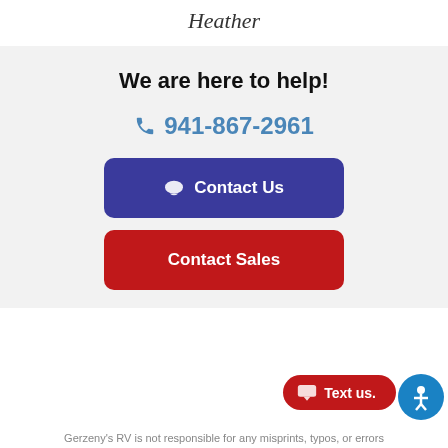Heather
We are here to help!
☎ 941-867-2961
💬 Contact Us
Contact Sales
Text us.
Gerzeny's RV is not responsible for any misprints, typos, or errors